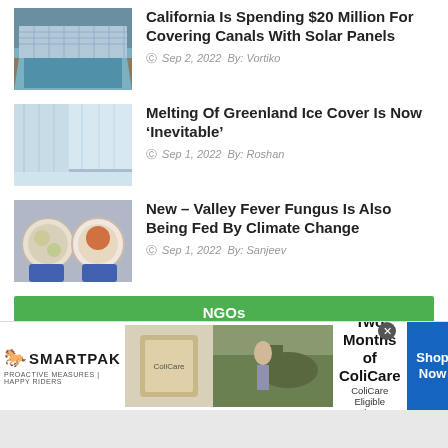[Figure (photo): Solar panels covering a canal in California]
California Is Spending $20 Million For Covering Canals With Solar Panels
Sep 2, 2022  By: Vortiko
[Figure (photo): Melting Greenland ice cover]
Melting Of Greenland Ice Cover Is Now ‘Inevitable’
Sep 1, 2022  By: Roshan
[Figure (photo): Valley fever fungus samples in petri dishes held by gloved hands]
New – Valley Fever Fungus Is Also Being Fed By Climate Change
Sep 1, 2022  By: Sanjeev
NGOs
[Figure (photo): Partial image for biofuels article]
Production Of Biofuels Is
[Figure (photo): SmartPak advertisement banner: 50% Off Two Months of ColiCare, ColiCare Eligible Supplements, CODE: COLICARE10, Shop Now]